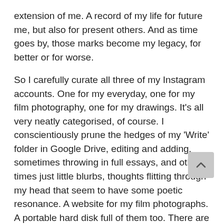extension of me. A record of my life for future me, but also for present others. And as time goes by, those marks become my legacy, for better or for worse.
So I carefully curate all three of my Instagram accounts. One for my everyday, one for my film photography, one for my drawings. It’s all very neatly categorised, of course. I conscientiously prune the hedges of my ‘Write’ folder in Google Drive, editing and adding, sometimes throwing in full essays, and other times just little blurbs, thoughts flitting through my head that seem to have some poetic resonance. A website for my film photographs. A portable hard disk full of them too. There are notebooks, less organized, never filled, where I scribble and doodle and occasionally write some very rude and angry things.
Mark-making is not for the apathetic.
All these I make in an attempt to scratch a tiny mark on